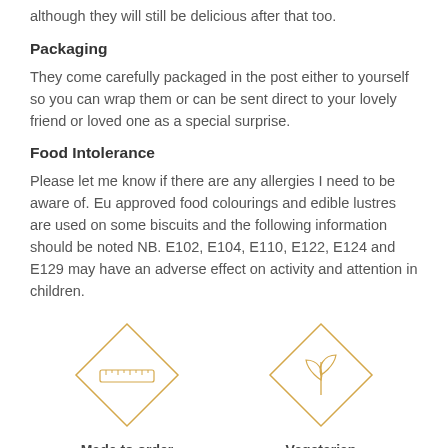although they will still be delicious after that too.
Packaging
They come carefully packaged in the post either to yourself so you can wrap them or can be sent direct to your lovely friend or loved one as a special surprise.
Food Intolerance
Please let me know if there are any allergies I need to be aware of. Eu approved food colourings and edible lustres are used on some biscuits and the following information should be noted NB. E102, E104, E110, E122, E124 and E129 may have an adverse effect on activity and attention in children.
[Figure (illustration): Diamond-shaped icon with a ruler inside, labeled 'Made to order']
[Figure (illustration): Diamond-shaped icon with a plant/leaf inside, labeled 'Vegetarian']
[Figure (illustration): Diamond-shaped icon with hands/biscuits inside (partially visible)]
[Figure (illustration): Diamond-shaped icon with group of people inside (partially visible)]